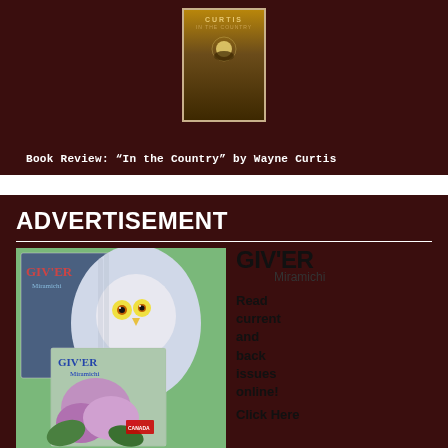[Figure (illustration): Book cover image for 'In the Country' by Wayne Curtis, centered on dark maroon background]
Book Review: “In the Country” by Wayne Curtis
ADVERTISEMENT
[Figure (illustration): GIV'ER Miramichi magazine advertisement showing multiple magazine covers with a snowy owl, lilacs, and Canadian countryside. Text reads: GIV'ER Miramichi, Read current and back issues online! Click Here]